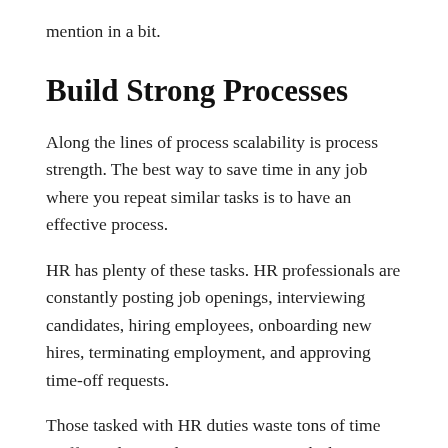mention in a bit.
Build Strong Processes
Along the lines of process scalability is process strength. The best way to save time in any job where you repeat similar tasks is to have an effective process.
HR has plenty of these tasks. HR professionals are constantly posting job openings, interviewing candidates, hiring employees, onboarding new hires, terminating employment, and approving time-off requests.
Those tasked with HR duties waste tons of time inefficiently completing repetitive tasks because they don't have a strong process in place.